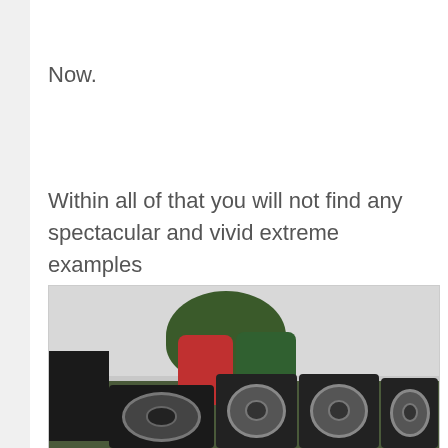Now.
Within all of that you will not find any spectacular and vivid extreme examples
[Figure (photo): Two people wearing helmets leaning over a row of loudspeakers/megaphones outdoors, with trees in the background. One person wears red, the other green. Multiple large speaker horns are visible in the foreground.]